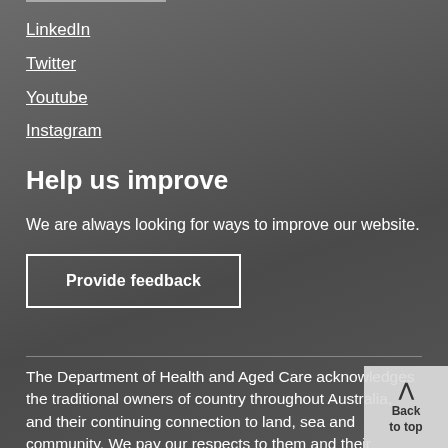LinkedIn
Twitter
Youtube
Instagram
Help us improve
We are always looking for ways to improve our website.
Provide feedback
The Department of Health and Aged Care acknowledges the traditional owners of country throughout Australia, and their continuing connection to land, sea and community. We pay our respects to them and their cultures, and to elders both past and present.